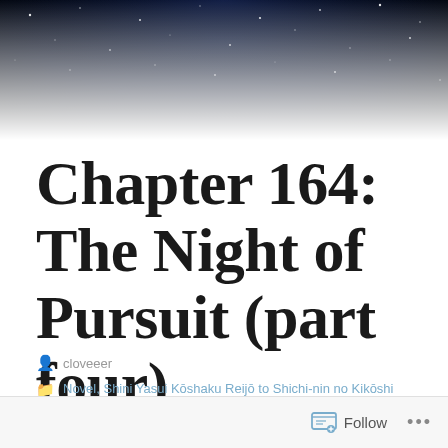[Figure (photo): Dark night sky banner image with stars and deep blue/black tones]
Chapter 164: The Night of Pursuit (part four)
cloveeer
Novel, Shini Yasui Kōshaku Reijō to Shichi-nin no Kikōshi